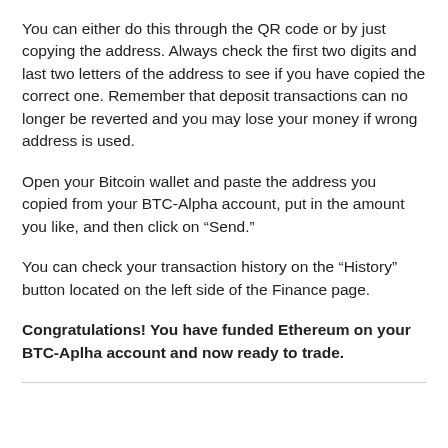You can either do this through the QR code or by just copying the address. Always check the first two digits and last two letters of the address to see if you have copied the correct one. Remember that deposit transactions can no longer be reverted and you may lose your money if wrong address is used.
Open your Bitcoin wallet and paste the address you copied from your BTC-Alpha account, put in the amount you like, and then click on “Send.”
You can check your transaction history on the “History” button located on the left side of the Finance page.
Congratulations! You have funded Ethereum on your BTC-Aplha account and now ready to trade.